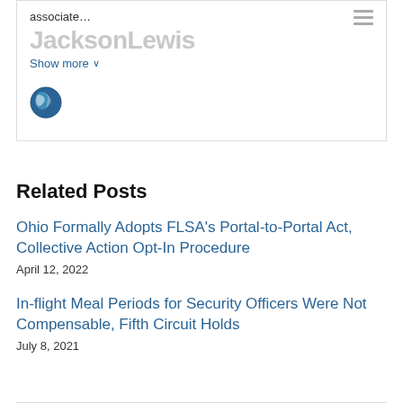associate…
[Figure (logo): JacksonLewis logo in light gray watermark style]
Show more ∨
[Figure (illustration): Globe icon showing Americas in blue and white]
Related Posts
Ohio Formally Adopts FLSA's Portal-to-Portal Act, Collective Action Opt-In Procedure
April 12, 2022
In-flight Meal Periods for Security Officers Were Not Compensable, Fifth Circuit Holds
July 8, 2021